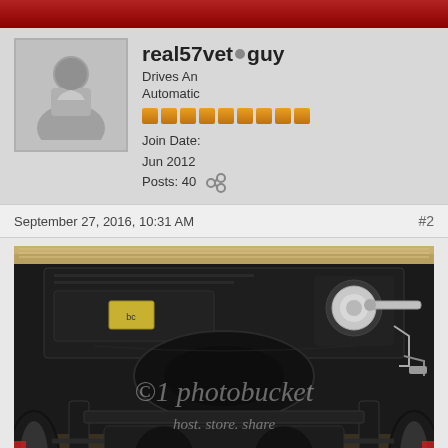real57veto guy
Drives An Automatic
Join Date: Jun 2012
Posts: 40
September 27, 2016, 10:31 AM   #2
[Figure (photo): Underside/chassis view of a classic 1957 Chevrolet Corvette during restoration, showing black painted frame, front suspension, steering components, and tires. Photobucket watermark overlay visible.]